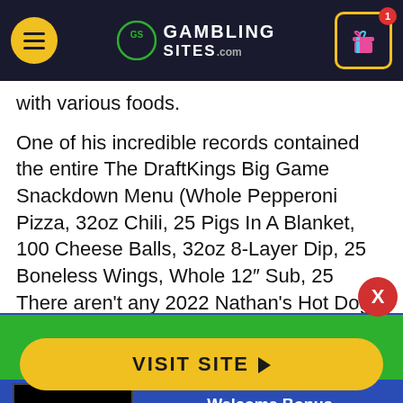GamblingSites.com header navigation bar
with various foods.
One of his incredible records contained the entire The DraftKings Big Game Snackdown Menu (Whole Pepperoni Pizza, 32oz Chili, 25 Pigs In A Blanket, 100 Cheese Balls, 32oz 8-Layer Dip, 25 Boneless Wings, Whole 12″ Sub, 25 Jalapeño Poppers) all in 5 minutes in 43 seconds.
There aren't any 2022 Nathan's Hot Dog Eating Contest
August Casino of the Month
[Figure (logo): Wild Casino logo - black background with green WILD text and white CASINO text]
Welcome Bonus
250% up to $5,000
VISIT SITE ▶